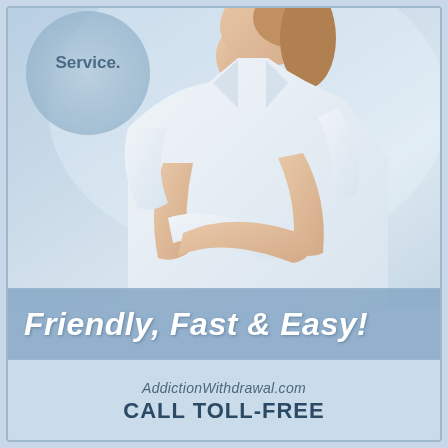[Figure (photo): Advertisement banner featuring a woman in a white shirt with arms crossed, a circular badge top-left showing 'Service.', a blue banner reading 'Friendly, Fast & Easy!', website 'AddictionWithdrawal.com' and 'CALL TOLL-FREE']
Friendly, Fast & Easy!
AddictionWithdrawal.com
CALL TOLL-FREE